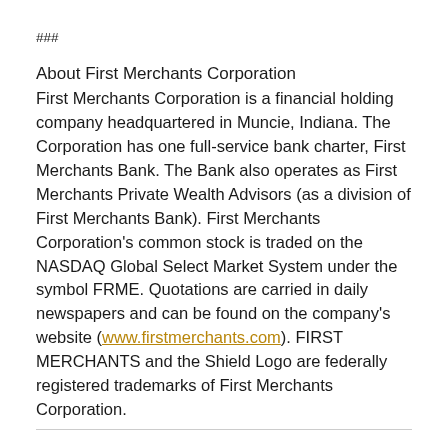###
About First Merchants Corporation
First Merchants Corporation is a financial holding company headquartered in Muncie, Indiana. The Corporation has one full-service bank charter, First Merchants Bank. The Bank also operates as First Merchants Private Wealth Advisors (as a division of First Merchants Bank). First Merchants Corporation's common stock is traded on the NASDAQ Global Select Market System under the symbol FRME. Quotations are carried in daily newspapers and can be found on the company's website (www.firstmerchants.com). FIRST MERCHANTS and the Shield Logo are federally registered trademarks of First Merchants Corporation.